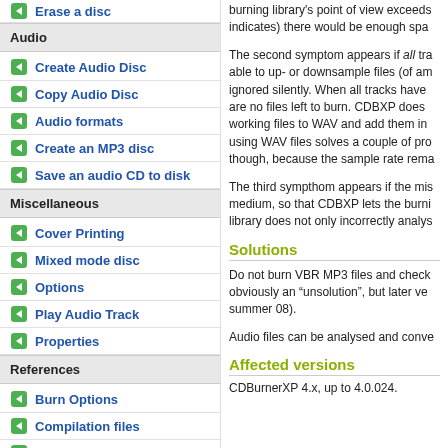Erase a disc
Audio
Create Audio Disc
Copy Audio Disc
Audio formats
Create an MP3 disc
Save an audio CD to disk
Miscellaneous
Cover Printing
Mixed mode disc
Options
Play Audio Track
Properties
References
Burn Options
Compilation files
Error codes
Medium Information
Quick Toolbar
burning library's point of view exceeds indicates) there would be enough spa
The second symptom appears if all tra able to up- or downsample files (of am ignored silently. When all tracks have are no files left to burn. CDBXP does working files to WAV and add them in using WAV files solves a couple of pro though, because the sample rate rema
The third sympthom appears if the mis medium, so that CDBXP lets the burni library does not only incorrectly analys
Solutions
Do not burn VBR MP3 files and check obviously an “unsolution”, but later ve summer 08).
Audio files can be analysed and conve
Affected versions
CDBurnerXP 4.x, up to 4.0.024.